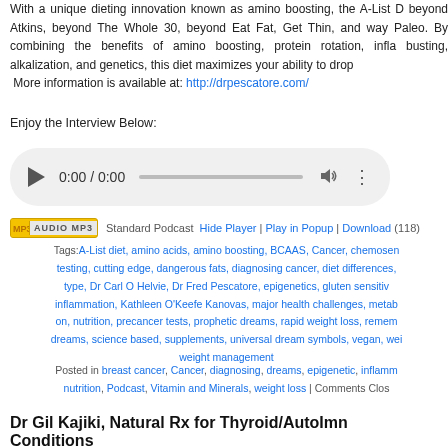With a unique dieting innovation known as amino boosting, the A-List D beyond Atkins, beyond The Whole 30, beyond Eat Fat, Get Thin, and wa Paleo. By combining the benefits of amino boosting, protein rotation, infl busting, alkalization, and genetics, this diet maximizes your ability to dro More information is available at: http://drpescatore.com/
Enjoy the Interview Below:
[Figure (other): Audio player widget showing 0:00 / 0:00 with play button, progress bar, volume and more options]
Standard Podcast  Hide Player | Play in Popup | Download (118)
Tags: A-List diet, amino acids, amino boosting, BCAAS, Cancer, chemosen testing, cutting edge, dangerous fats, diagnosing cancer, diet differences, type, Dr Carl O Helvie, Dr Fred Pescatore, epigenetics, gluten sensitivi inflammation, Kathleen O'Keefe Kanovas, major health challenges, metab on, nutrition, precancer tests, prophetic dreams, rapid weight loss, remem dreams, science based, supplements, universal dream symbols, vegan, we weight management
Posted in breast cancer, Cancer, diagnosing, dreams, epigenetic, inflamm nutrition, Podcast, Vitamin and Minerals, weight loss | Comments Clos
Dr Gil Kajiki, Natural Rx for Thyroid/AutoImm Conditions